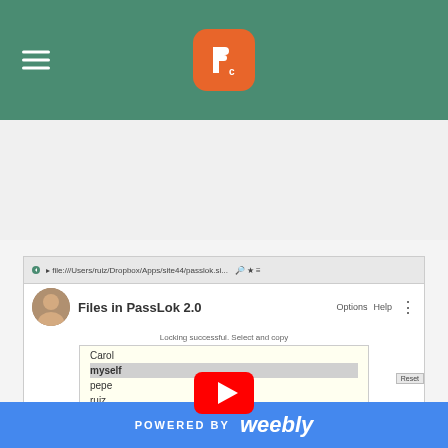[Figure (screenshot): Website header with hamburger menu icon on left, orange rounded-square logo with white 'P' in center, on green/teal background]
[Figure (screenshot): YouTube video thumbnail showing PassLok 2.0 application screenshot with title 'Files in PassLok 2.0', browser address bar, user list (Carol, myself, pepe, ruiz), encoded cipher text, Lock/Unlock and myLock buttons, and YouTube play button overlay]
[Figure (screenshot): Blue footer bar with 'POWERED BY weebly' text in white]